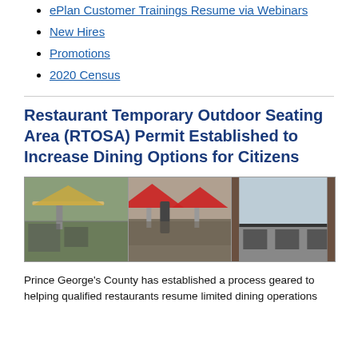ePlan Customer Trainings Resume via Webinars
New Hires
Promotions
2020 Census
Restaurant Temporary Outdoor Seating Area (RTOSA) Permit Established to Increase Dining Options for Citizens
[Figure (photo): Three side-by-side photos of outdoor restaurant seating areas with umbrellas and patio furniture]
Prince George's County has established a process geared to helping qualified restaurants resume limited dining operations